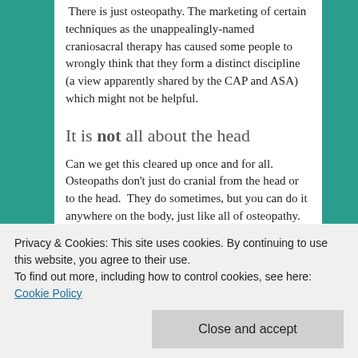There is just osteopathy. The marketing of certain techniques as the unappealingly-named craniosacral therapy has caused some people to wrongly think that they form a distinct discipline (a view apparently shared by the CAP and ASA) which might not be helpful.
It is not all about the head
Can we get this cleared up once and for all. Osteopaths don't just do cranial from the head or to the head.  They do sometimes, but you can do it anywhere on the body, just like all of osteopathy.  Yes "cranial" osteopathy is very badly named but that doesn't mean we should...
Roman Empire which was famously neither Holy,
Privacy & Cookies: This site uses cookies. By continuing to use this website, you agree to their use.
To find out more, including how to control cookies, see here: Cookie Policy